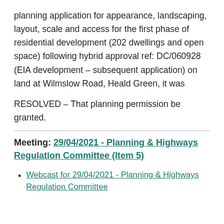planning application for appearance, landscaping, layout, scale and access for the first phase of residential development (202 dwellings and open space) following hybrid approval ref: DC/060928 (EIA development – subsequent application) on land at Wilmslow Road, Heald Green, it was
RESOLVED – That planning permission be granted.
Meeting: 29/04/2021 - Planning & Highways Regulation Committee (Item 5)
Webcast for 29/04/2021 - Planning & Highways Regulation Committee